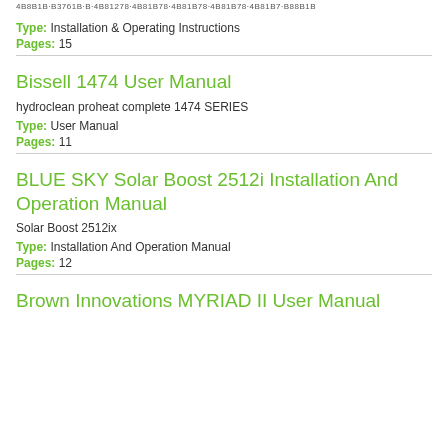4B8B1B·B3761B·B·4B81278·4B81B78·4B81B78·4B81B78·4B81B7·B88B1B
Type: Installation & Operating Instructions
Pages: 15
Bissell 1474 User Manual
hydroclean proheat complete 1474 SERIES
Type: User Manual
Pages: 11
BLUE SKY Solar Boost 2512i Installation And Operation Manual
Solar Boost 2512ix
Type: Installation And Operation Manual
Pages: 12
Brown Innovations MYRIAD II User Manual